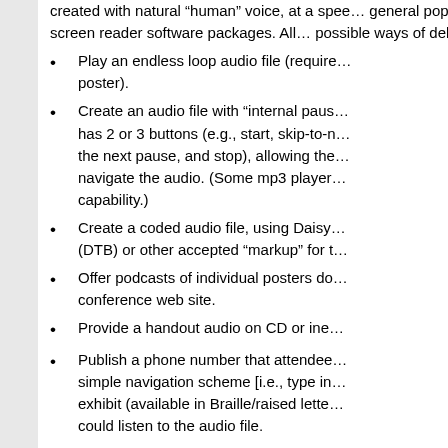created with natural “human” voice, at a speed appropriate for the general population rather than a speeded-up synthesized voice that is used in screen reader software packages. All of the following are possible ways of delivering an audio file to att…
Play an endless loop audio file (require… poster).
Create an audio file with “internal paus… has 2 or 3 buttons (e.g., start, skip-to-n… the next pause, and stop), allowing the… navigate the audio. (Some mp3 player… capability.)
Create a coded audio file, using Daisy… (DTB) or other accepted “markup” for t…
Offer podcasts of individual posters do… conference web site.
Provide a handout audio on CD or ine…
Publish a phone number that attendee… simple navigation scheme [i.e., type in… exhibit (available in Braille/raised lette… could listen to the audio file.
Broadcast on low power FM throughou… Many mp3 players and some cell pho… which would allow the attendee to liste…
Use Bluetooth or similar technology, al… and hear the particular poster audio us… or other Bluetooth equipped devices.
Other options include using an interactive whi… tablet used for the poster board backdrop. Fu… interactive white board could easily “play” an…